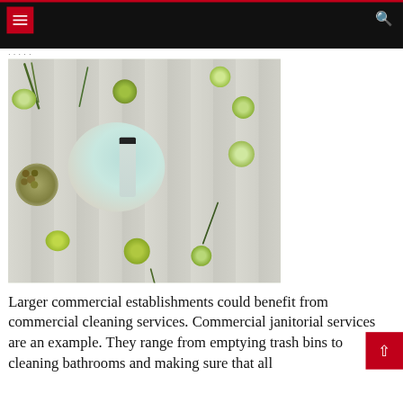Navigation header with hamburger menu and search icon
[Figure (photo): Overhead flat-lay photo of a cleaning/beauty product bottle on a teal ceramic plate, surrounded by sliced cucumbers, kiwi, limes, fresh herbs, and olives on a white wooden surface.]
Larger commercial establishments could benefit from commercial cleaning services. Commercial janitorial services are an example. They range from emptying trash bins to cleaning bathrooms and making sure that all